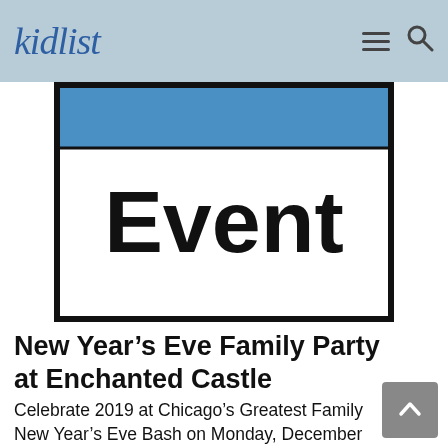kidlist
[Figure (illustration): A calendar icon graphic with a blue top bar and bold black text reading 'Event' in the white lower portion, surrounded by a thick black border.]
New Year's Eve Family Party at Enchanted Castle
Celebrate 2019 at Chicago's Greatest Family New Year's Eve Bash on Monday, December 31st with 2 seatings to choose from – our 4 PM